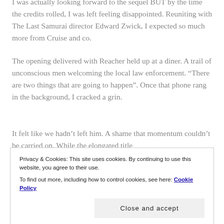I was actually looking forward to the sequel BUT by the time the credits rolled, I was left feeling disappointed. Reuniting with The Last Samurai director Edward Zwick, I expected so much more from Cruise and co.
The opening delivered with Reacher held up at a diner. A trail of unconscious men welcoming the local law enforcement. “There are two things that are going to happen”. Once that phone rang in the background, I cracked a grin.
It felt like we hadn’t left him. A shame that momentum couldn’t be carried on. While the elongated title
Privacy & Cookies: This site uses cookies. By continuing to use this website, you agree to their use.
To find out more, including how to control cookies, see here: Cookie Policy
Close and accept
However, this to dick pick, we Reacher first however...